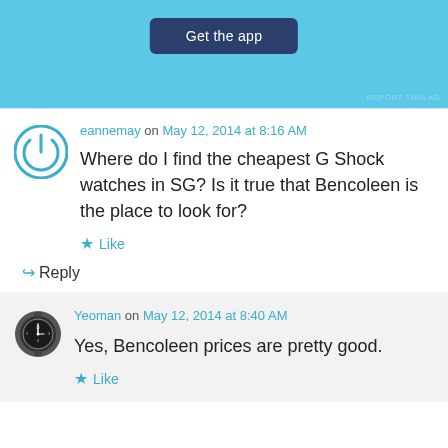[Figure (screenshot): Blue app advertisement banner with 'Get the app' button and 'REPORT THIS AD' text]
eannemay on May 12, 2014 at 8:16 AM
Where do I find the cheapest G Shock watches in SG? Is it true that Bencoleen is the place to look for?
★ Like
↪ Reply
Yeoman on May 12, 2014 at 8:40 AM
Yes, Bencoleen prices are pretty good.
★ Like